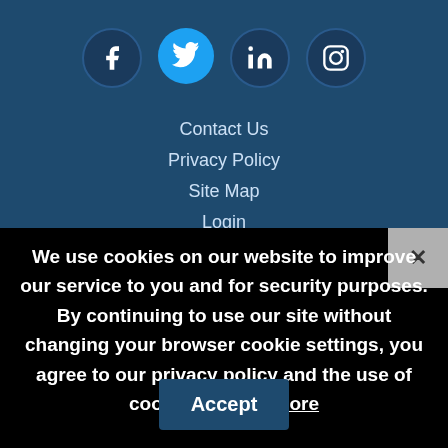[Figure (other): Social media icons: Facebook, Twitter, LinkedIn, Instagram]
Contact Us
Privacy Policy
Site Map
Login
We use cookies on our website to improve our service to you and for security purposes. By continuing to use our site without changing your browser cookie settings, you agree to our privacy policy and the use of cookies - Learn More
Accept